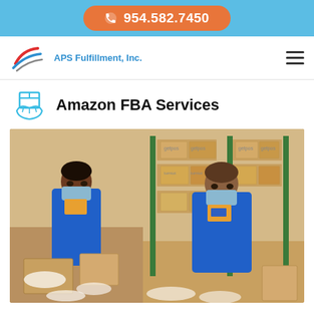954.582.7450
[Figure (logo): APS Fulfillment, Inc. logo with stylized flag/swoosh icon]
Amazon FBA Services
[Figure (photo): Two warehouse workers in blue APS Fulfillment t-shirts and face masks packing boxes surrounded by shelves of cardboard boxes]